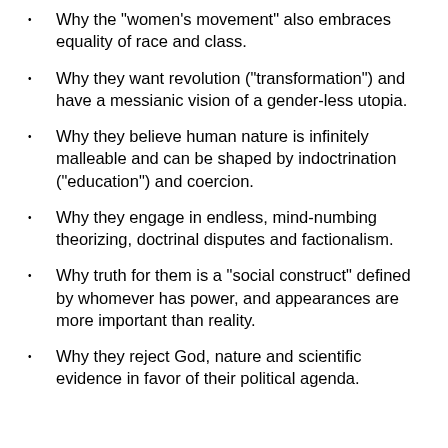Why the "women's movement" also embraces equality of race and class.
Why they want revolution ("transformation") and have a messianic vision of a gender-less utopia.
Why they believe human nature is infinitely malleable and can be shaped by indoctrination ("education") and coercion.
Why they engage in endless, mind-numbing theorizing, doctrinal disputes and factionalism.
Why truth for them is a "social construct" defined by whomever has power, and appearances are more important than reality.
Why they reject God, nature and scientific evidence in favor of their political agenda.